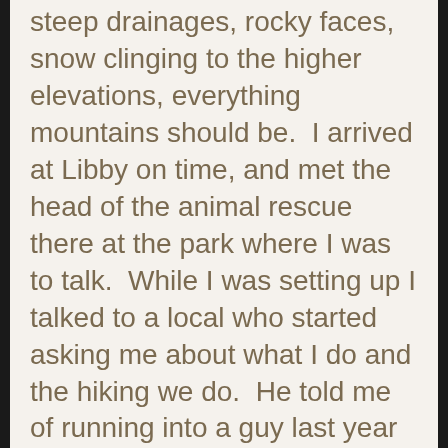steep drainages, rocky faces, snow clinging to the higher elevations, everything mountains should be.  I arrived at Libby on time, and met the head of the animal rescue there at the park where I was to talk.  While I was setting up I talked to a local who started asking me about what I do and the hiking we do.  He told me of running into a guy last year who had hiked 18,000 miles, I asked if he was an Australian and he said yes.  Of all things the guy he was talking about, was my friend “Swami” , who was on the CDT last year during his “12 Long Walks” What a small world it is sometimes.
I finished setting up and was ready to go, however no one in